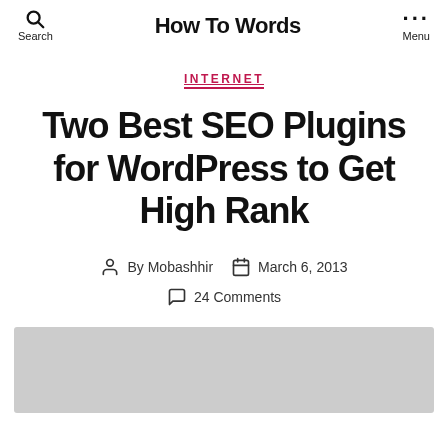How To Words
INTERNET
Two Best SEO Plugins for WordPress to Get High Rank
By Mobashhir  March 6, 2013  24 Comments
[Figure (photo): Gray placeholder image at bottom of page]